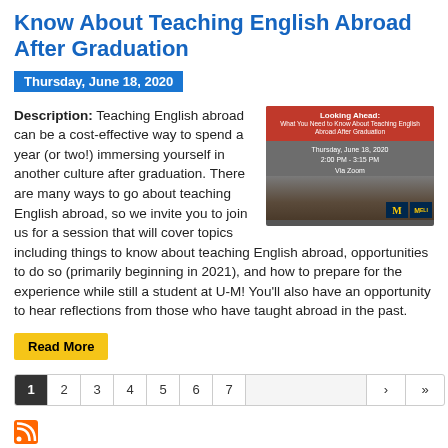Know About Teaching English Abroad After Graduation
Thursday, June 18, 2020
Description: Teaching English abroad can be a cost-effective way to spend a year (or two!) immersing yourself in another culture after graduation. There are many ways to go about teaching English abroad, so we invite you to join us for a session that will cover topics including things to know about teaching English abroad, opportunities to do so (primarily beginning in 2021), and how to prepare for the experience while still a student at U-M! You'll also have an opportunity to hear reflections from those who have taught abroad in the past.
[Figure (infographic): Event flyer for 'Looking Ahead: What You Need to Know About Teaching English Abroad After Graduation', Thursday, June 18, 2020, 2:00 PM - 3:15 PM, Via Zoom, with University of Michigan logos]
Read More
1 2 3 4 5 6 7 › »